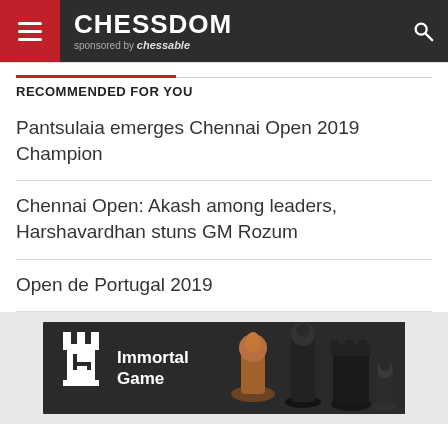CHESSDOM sponsored by chessable
RECOMMENDED FOR YOU
Pantsulaia emerges Chennai Open 2019 Champion
Chennai Open: Akash among leaders, Harshavardhan stuns GM Rozum
Open de Portugal 2019
[Figure (photo): Immortal Game advertisement banner with chess pieces on dark background]